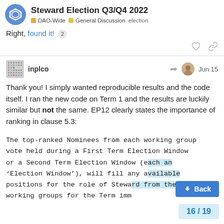Steward Election Q3/Q4 2022 — DAO-Wide | General Discussion | election
Right, found it! 2
inplco — Jun 15
Thank you! I simply wanted reproducible results and the code itself. I ran the new code on Term 1 and the results are luckily similar but not the same. EP12 clearly states the importance of ranking in clause 5.3:
The top-ranked Nominees from each working group vote held during a First Term Election Window or a Second Term Election Window (each an 'Election Window'), will fill any available positions for the role of Steward from the working groups for the Term imm